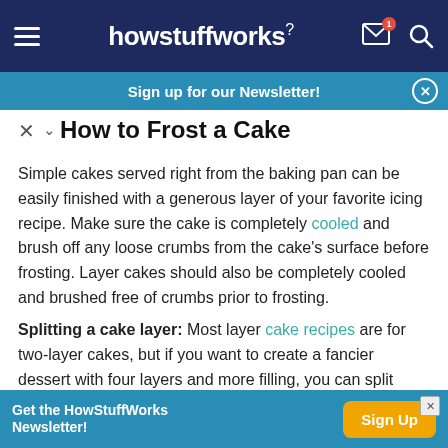[Figure (screenshot): HowStuffWorks navigation bar with hamburger menu, logo, mail icon with badge '1', and search icon on dark navy background]
[Figure (screenshot): Teal 'Sign up for our Newsletter!' banner with close button on right]
How to Frost a Cake
Simple cakes served right from the baking pan can be easily finished with a generous layer of your favorite icing recipe. Make sure the cake is completely cooled and brush off any loose crumbs from the cake's surface before frosting. Layer cakes should also be completely cooled and brushed free of crumbs prior to frosting.
Splitting a cake layer: Most layer cake recipes are for two-layer cakes, but if you want to create a fancier dessert with four layers and more filling, you can split each cake layer in half. Use a ruler to measure the height of the cake
[Figure (screenshot): Bottom ad bar: 'Get the HowStuffWorks Newsletter!' in teal with orange 'Sign Up' button]